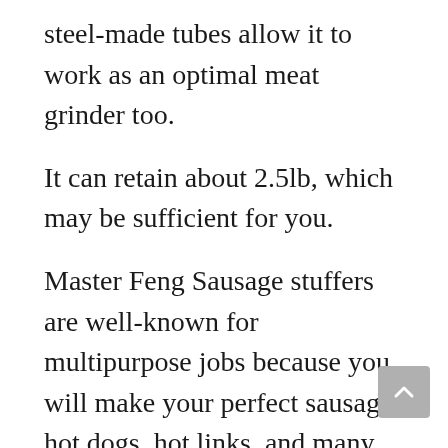steel-made tubes allow it to work as an optimal meat grinder too.
It can retain about 2.5lb, which may be sufficient for you.
Master Feng Sausage stuffers are well-known for multipurpose jobs because you will make your perfect sausage, hot dogs, hot links, and many more.
In the cylinder, you will find an air-release valve, which will approve the air to exemption without causing the sausage casing to disintegrate.